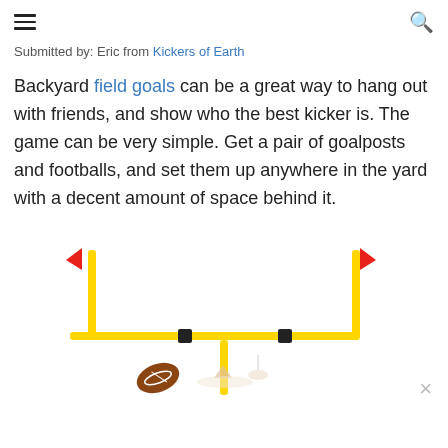Submitted by: Eric from Kickers of Earth
Backyard field goals can be a great way to hang out with friends, and show who the best kicker is. The game can be very simple. Get a pair of goalposts and footballs, and set them up anywhere in the yard with a decent amount of space behind it.
[Figure (photo): A yellow football goalpost with red flags on top of each upright, set against a white background. A football and a kicking tee are visible at the base.]